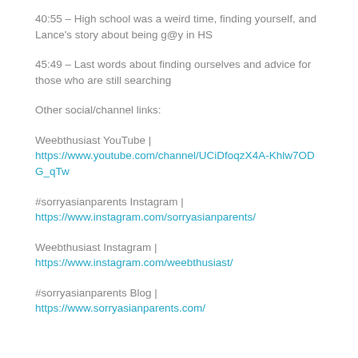40:55 – High school was a weird time, finding yourself, and Lance's story about being g@y in HS
45:49 – Last words about finding ourselves and advice for those who are still searching
Other social/channel links:
Weebthusiast YouTube | https://www.youtube.com/channel/UCiDfoqzX4A-Khlw7ODG_qTw
#sorryasianparents Instagram | https://www.instagram.com/sorryasianparents/
Weebthusiast Instagram | https://www.instagram.com/weebthusiast/
#sorryasianparents Blog | https://www.sorryasianparents.com/